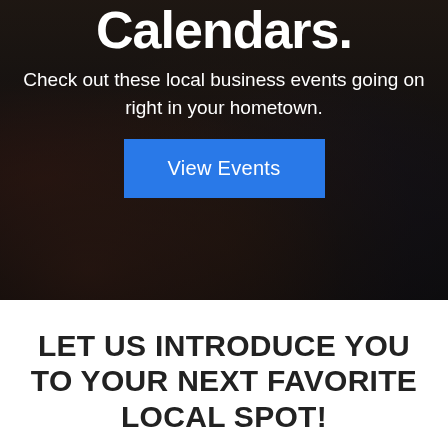[Figure (photo): Dark background photo of people in a local business/shop, with overlay text. Shows figures standing in a store environment with some signage visible including 'home' script text.]
Calendars.
Check out these local business events going on right in your hometown.
View Events
LET US INTRODUCE YOU TO YOUR NEXT FAVORITE LOCAL SPOT!
Here's what people are saying about Hello /22...